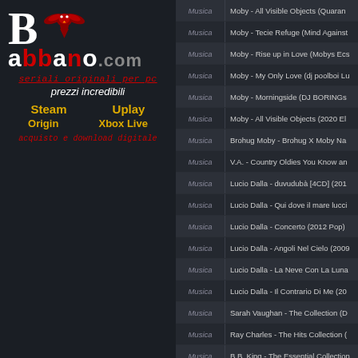[Figure (logo): Babbano.com website logo with eagle emblem and stylized text]
seriali originali per pc
prezzi incredibili
Steam   Uplay
  Origin      Xbox Live
acquisto e download digitale
| Category | Title |
| --- | --- |
| Musica | Moby - All Visible Objects (Quaran... |
| Musica | Moby - Tecie Refuge (Mind Against... |
| Musica | Moby - Rise up in Love (Mobys Ecs... |
| Musica | Moby - My Only Love (dj poolboi L... |
| Musica | Moby - Morningside (DJ BORINGs... |
| Musica | Moby - All Visible Objects (2020 El... |
| Musica | Brohug Moby - Brohug X Moby Na... |
| Musica | V.A. - Country Oldies You Know an... |
| Musica | Lucio Dalla - duvudubà [4CD] (201... |
| Musica | Lucio Dalla - Qui dove il mare lucci... |
| Musica | Lucio Dalla - Concerto (2012 Pop) |
| Musica | Lucio Dalla - Angoli Nel Cielo (2009... |
| Musica | Lucio Dalla - La Neve Con La Luna... |
| Musica | Lucio Dalla - Il Contrario Di Me (20... |
| Musica | Sarah Vaughan - The Collection (D... |
| Musica | Ray Charles - The Hits Collection (... |
| Musica | B.B. King - The Essential Collection... |